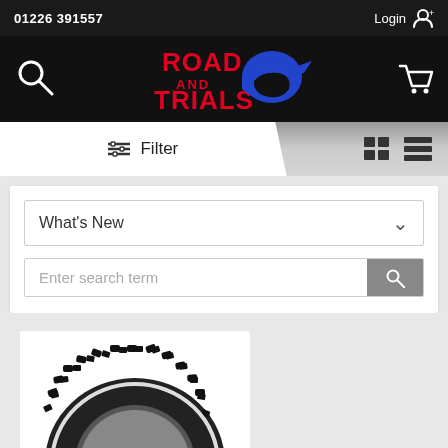01226 391557   Login
[Figure (logo): Road and Trials logo - red text with blue helmet graphic]
☰ Filter
What's New
Enter search term
[Figure (photo): Motorcycle tyre with knobbly tread pattern, partially visible at bottom of page]